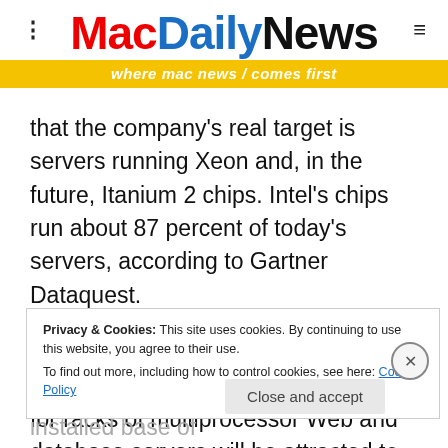MacDailyNews — where mac news comes first
that the company's real target is servers running Xeon and, in the future, Itanium 2 chips. Intel's chips run about 87 percent of today's servers, according to Gartner Dataquest.
According to Akrout, developers struggling with the total power budget for racks of multiprocessor Web and database servers will be attracted to the 970's power savings: It is expected to consume just tens of
Privacy & Cookies: This site uses cookies. By continuing to use this website, you agree to their use. To find out more, including how to control cookies, see here: Cookie Policy
you're going to be fighting this installed base of